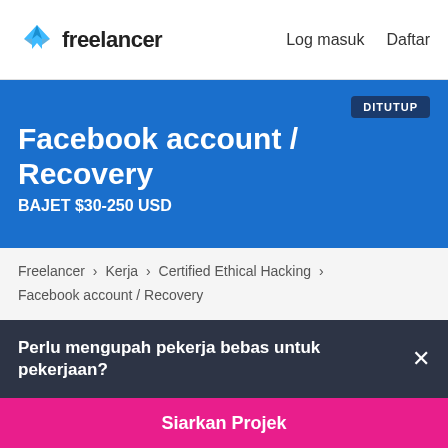freelancer   Log masuk   Daftar
Facebook account / Recovery
BAJET $30-250 USD
DITUTUP
Freelancer › Kerja › Certified Ethical Hacking › Facebook account / Recovery
Perlu mengupah pekerja bebas untuk pekerjaan?
Siarkan Projek